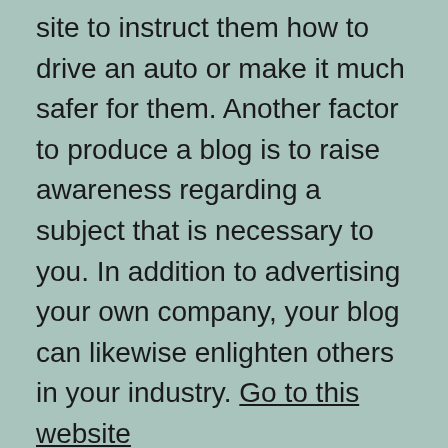site to instruct them how to drive an auto or make it much safer for them. Another factor to produce a blog is to raise awareness regarding a subject that is necessary to you. In addition to advertising your own company, your blog can likewise enlighten others in your industry. Go to this website
A blog is a valuable tool in advertising your firm's brand name. A properly designed blog can attract extra site visitors and also aid your business do well. It can help you establish your competence in your market, in addition to enhance your online visibility. By utilizing